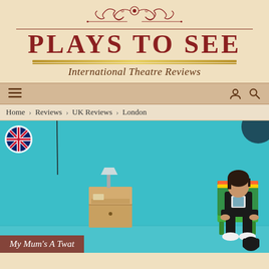[Figure (logo): Plays To See website logo with ornamental scrollwork, title 'PLAYS TO SEE' and subtitle 'International Theatre Reviews' on beige background]
Home > Reviews > UK Reviews > London
[Figure (photo): A young person sitting on a colorful green chair against a bright teal/turquoise wall, wearing a black t-shirt and black trousers with white shoes. A wooden bedside cabinet with a lamp is to the left. A UK flag icon is overlaid at top left.]
My Mum's A Twat